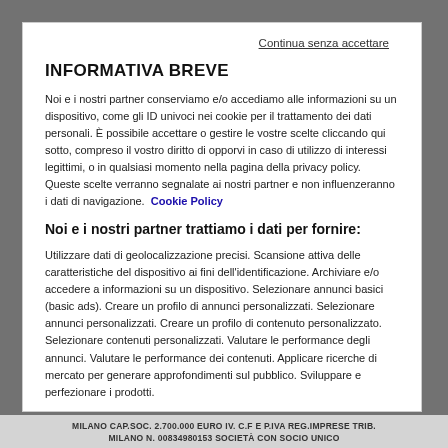Continua senza accettare
INFORMATIVA BREVE
Noi e i nostri partner conserviamo e/o accediamo alle informazioni su un dispositivo, come gli ID univoci nei cookie per il trattamento dei dati personali. È possibile accettare o gestire le vostre scelte cliccando qui sotto, compreso il vostro diritto di opporvi in caso di utilizzo di interessi legittimi, o in qualsiasi momento nella pagina della privacy policy. Queste scelte verranno segnalate ai nostri partner e non influenzeranno i dati di navigazione. Cookie Policy
Noi e i nostri partner trattiamo i dati per fornire:
Utilizzare dati di geolocalizzazione precisi. Scansione attiva delle caratteristiche del dispositivo ai fini dell'identificazione. Archiviare e/o accedere a informazioni su un dispositivo. Selezionare annunci basici (basic ads). Creare un profilo di annunci personalizzati. Selezionare annunci personalizzati. Creare un profilo di contenuto personalizzato. Selezionare contenuti personalizzati. Valutare le performance degli annunci. Valutare le performance dei contenuti. Applicare ricerche di mercato per generare approfondimenti sul pubblico. Sviluppare e perfezionare i prodotti.
MILANO CAP.SOC. 2.700.000 EURO IV. C.F E P.IVA REG.IMPRESE TRIB. MILANO N. 00834980153 SOCIETÀ CON SOCIO UNICO